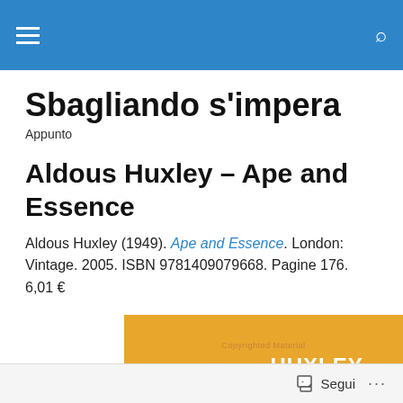Sbagliando s'impera
Appunto
Aldous Huxley – Ape and Essence
Aldous Huxley (1949). Ape and Essence. London: Vintage. 2005. ISBN 9781409079668. Pagine 176. 6,01 €
[Figure (photo): Book cover image with orange/gold background showing 'VINTAGE HUXLEY' text branding and 'Copyrighted Material' watermark text]
Segui ...